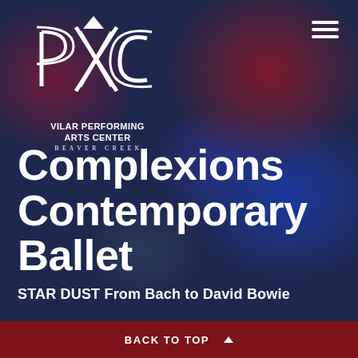[Figure (logo): PXC logo - Vilar Performing Arts Center, Beaver Creek. White geometric PXC lettermark with triangular accent above.]
Complexions Contemporary Ballet
STAR DUST From Bach to David Bowie
BACK TO TOP ▲